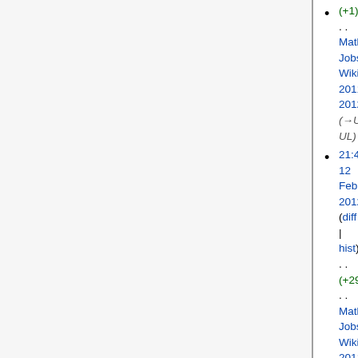(+1) . . Mathematics Jobs Wiki 2011-2012 (→UA-UL)
21:43, 12 February 2012 (diff | hist) . . (+29) . . Mathematics Jobs Wiki 2011-2012 (→UA-UL)
21:21, 12 February 2012 (diff | hist) . . (+16) . . Mathematics Jobs Wiki 2011-2012 (Teaching) (→L-T)
20:06, 11 February 2012 (diff | hist) . . (-2) . . m Mathematics Jobs Wiki 2011-2012 (Teaching) (→U-Z)
13:02, 7 February 2012 (diff | hist) . . (-18) . . m Mathematics Jobs Wiki 2011-2012 (→A-K)
20:45, 29 January 2012 (diff | hist) . . (+97) . . Mathematics Jobs Wiki 2011-2012 (Teaching) (→U-Z)
20:31, 29 January 2012 (diff | hist) . . (+6) . . m Mathematics Jobs Wiki 2011-2012 (→L-T)
(Latest | Earliest) View (newer 50 | older 50) (20 | 50 | 100 | 250 | 500)